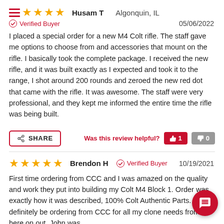Husam T   Algonquin, IL   ★★★★★   Verified Buyer   05/06/2022
I placed a special order for a new M4 Colt rifle. The staff gave me options to choose from and accessories that mount on the rifle. I basically took the complete package. I received the new rifle, and it was built exactly as I expected and took it to the range, I shot around 200 rounds and zeroed the new red dot that came with the rifle. It was awesome. The staff were very professional, and they kept me informed the entire time the rifle was being built.
SHARE   Was this review helpful?   👍 1   👎 0
Brendon H   ✓ Verified Buyer   10/19/2021   ★★★★★
First time ordering from CCC and I was amazed on the quality and work they put into building my Colt M4 Block 1. Order was exactly how it was described, 100% Colt Authentic Parts. I will definitely be ordering from CCC for all my clone needs from here on out. John was